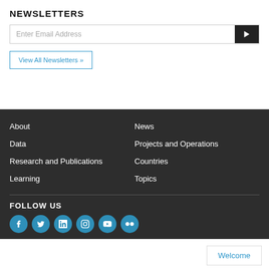NEWSLETTERS
Enter Email Address
View All Newsletters »
About
News
Data
Projects and Operations
Research and Publications
Countries
Learning
Topics
FOLLOW US
[Figure (illustration): Social media icons: Facebook, Twitter, LinkedIn, Instagram, YouTube, Flickr]
Welcome